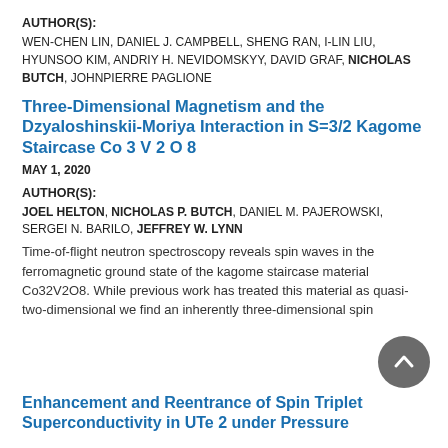AUTHOR(S):
WEN-CHEN LIN, DANIEL J. CAMPBELL, SHENG RAN, I-LIN LIU, HYUNSOO KIM, ANDRIY H. NEVIDOMSKYY, DAVID GRAF, NICHOLAS BUTCH, JOHNPIERRE PAGLIONE
Three-Dimensional Magnetism and the Dzyaloshinskii-Moriya Interaction in S=3/2 Kagome Staircase Co 3 V 2 O 8
MAY 1, 2020
AUTHOR(S):
JOEL HELTON, NICHOLAS P. BUTCH, DANIEL M. PAJEROWSKI, SERGEI N. BARILO, JEFFREY W. LYNN
Time-of-flight neutron spectroscopy reveals spin waves in the ferromagnetic ground state of the kagome staircase material Co32V2O8. While previous work has treated this material as quasi-two-dimensional we find an inherently three-dimensional spin
Enhancement and Reentrance of Spin Triplet Superconductivity in UTe 2 under Pressure